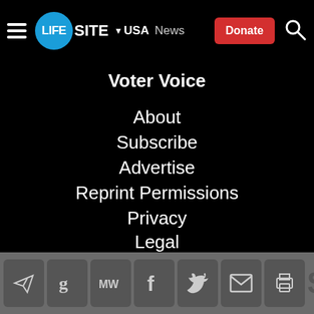LifeSite | USA | News | Donate
Voter Voice
About
Subscribe
Advertise
Reprint Permissions
Privacy
Legal
Technical Support
Contact
Donate
Social share icons: Telegram, Gettr, MeWe, Facebook, Twitter, Email, Print | Donate